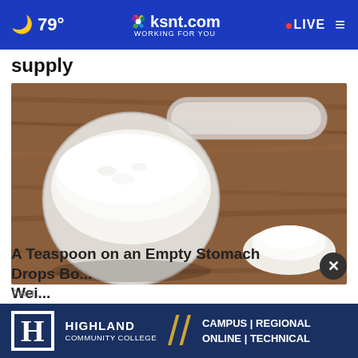79° ksnt.com WORKING FOR YOU LIVE
supply
[Figure (photo): A plastic measuring scoop filled with white powder (likely protein powder or similar supplement) resting on a rustic wooden surface, with a small pile of the same white powder nearby.]
A Teaspoon on an Empty Stomach Drops Bo... Wei...
Trend...
[Figure (other): Highland Community College advertisement banner: H logo, HIGHLAND COMMUNITY COLLEGE, CAMPUS | REGIONAL ONLINE | TECHNICAL]